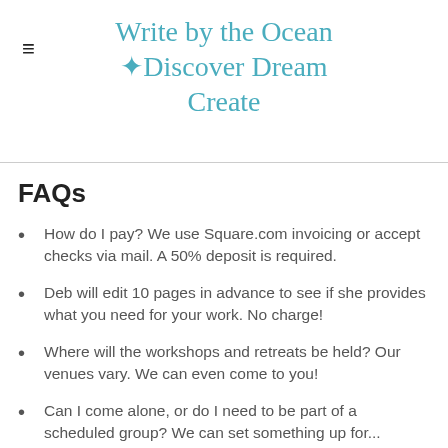Write by the Ocean • Discover Dream Create
FAQs
How do I pay? We use Square.com invoicing or accept checks via mail. A 50% deposit is required.
Deb will edit 10 pages in advance to see if she provides what you need for your work. No charge!
Where will the workshops and retreats be held? Our venues vary. We can even come to you!
Can I come alone, or do I need to be part of a scheduled group? We can set something up for...